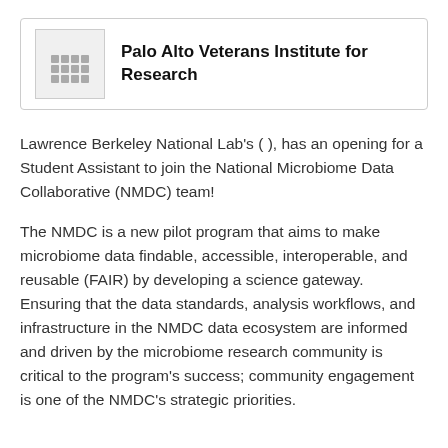[Figure (logo): Palo Alto Veterans Institute for Research logo — a building/grid icon in gray]
Palo Alto Veterans Institute for Research
Lawrence Berkeley National Lab's ( ), has an opening for a Student Assistant to join the National Microbiome Data Collaborative (NMDC) team!
The NMDC is a new pilot program that aims to make microbiome data findable, accessible, interoperable, and reusable (FAIR) by developing a science gateway. Ensuring that the data standards, analysis workflows, and infrastructure in the NMDC data ecosystem are informed and driven by the microbiome research community is critical to the program's success; community engagement is one of the NMDC's strategic priorities.